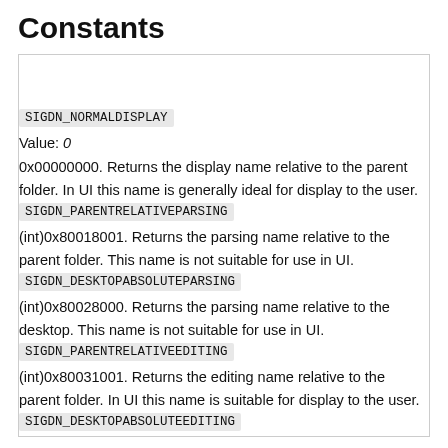Constants
|  |  |
| SIGDN_NORMALDISPLAY | Value: 0
0x00000000. Returns the display name relative to the parent folder. In UI this name is generally ideal for display to the user. |
| SIGDN_PARENTRELATIVEPARSING | (int)0x80018001. Returns the parsing name relative to the parent folder. This name is not suitable for use in UI. |
| SIGDN_DESKTOPABSOLUTEPARSING | (int)0x80028000. Returns the parsing name relative to the desktop. This name is not suitable for use in UI. |
| SIGDN_PARENTRELATIVEEDITING | (int)0x80031001. Returns the editing name relative to the parent folder. In UI this name is suitable for display to the user. |
| SIGDN_DESKTOPABSOLUTEEDITING |  |